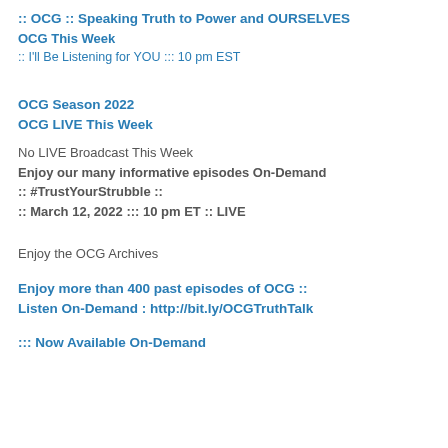:: OCG :: Speaking Truth to Power and OURSELVES
OCG This Week
:: I'll Be Listening for YOU ::: 10 pm EST
OCG Season 2022
OCG LIVE This Week
No LIVE Broadcast This Week
Enjoy our many informative episodes On-Demand
:: #TrustYourStrubble ::
:: March 12, 2022 ::: 10 pm ET :: LIVE
Enjoy the OCG Archives
Enjoy more than 400 past episodes of OCG :: Listen On-Demand : http://bit.ly/OCGTruthTalk
::: Now Available On-Demand